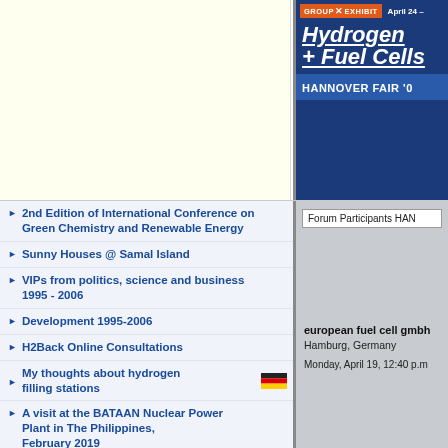[Figure (illustration): Hydrogen + Fuel Cells Group Exhibit banner for Hannover Fair, with orange GROUP EXHIBIT badge, date April 24-, italic white title 'Hydrogen + Fuel Cells', and blue bottom bar with HANNOVER FAIR '0']
2nd Edition of International Conference on Green Chemistry and Renewable Energy
Sunny Houses @ Samal Island
VIPs from politics, science and business 1995 - 2006
Development 1995-2006
H2Back Online Consultations
My thoughts about hydrogen filling stations
A visit at the BATAAN Nuclear Power Plant in The Philippines, February 2019
NEW! Hans-Olof Nilsson's Off-The-Grid
Forum Participants HAN
european fuel cell gmbh
Hamburg, Germany
Monday, April 19, 12:40 p.m